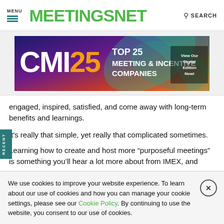MENU | MEETINGSNET | SEARCH
[Figure (other): CMI25 Top 25 Meeting & Incentive Companies advertisement banner with colorful abstract background. Text reads: CMI25 TOP 25 MEETING & INCENTIVE COMPANIES View Our Digital Edition Now!]
engaged, inspired, satisfied, and come away with long-term benefits and learnings.
It’s really that simple, yet really that complicated sometimes.
Learning how to create and host more “purposeful meetings” is something you’ll hear a lot more about from IMEX, and we’re
We use cookies to improve your website experience. To learn about our use of cookies and how you can manage your cookie settings, please see our Cookie Policy. By continuing to use the website, you consent to our use of cookies.